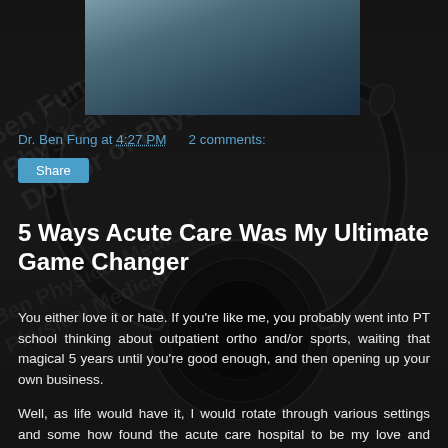[Figure (photo): Profile photo of Dr. Ben Fung, person visible from shoulders up wearing dark clothing, dark background]
Dr. Ben Fung at 4:27 PM   2 comments:
Share
5 Ways Acute Care Was My Ultimate Game Changer
You either love it or hate. If you're like me, you probably went into PT school thinking about outpatient ortho and/or sports, waiting that magical 5 years until you're good enough, and then opening up your own business.
Well, as life would have it, I would rotate through various settings and some how found the acute care hospital to be my love and passion as it pertains to the raw potential to